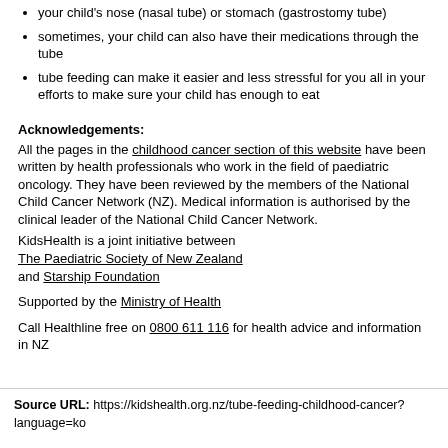your child's nose (nasal tube) or stomach (gastrostomy tube)
sometimes, your child can also have their medications through the tube
tube feeding can make it easier and less stressful for you all in your efforts to make sure your child has enough to eat
Acknowledgements:
All the pages in the childhood cancer section of this website have been written by health professionals who work in the field of paediatric oncology. They have been reviewed by the members of the National Child Cancer Network (NZ). Medical information is authorised by the clinical leader of the National Child Cancer Network.
KidsHealth is a joint initiative between
The Paediatric Society of New Zealand
and Starship Foundation
Supported by the Ministry of Health
Call Healthline free on 0800 611 116 for health advice and information in NZ
Source URL: https://kidshealth.org.nz/tube-feeding-childhood-cancer?language=ko